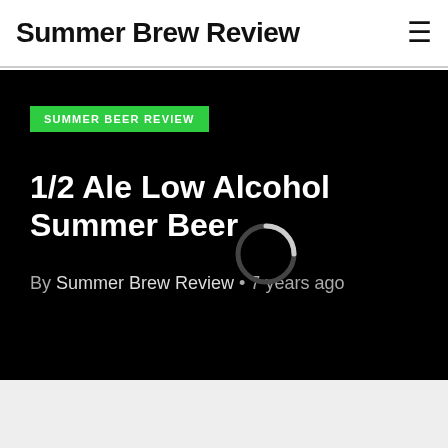Summer Brew Review
SUMMER BEER REVIEW
1/2 Ale Low Alcohol Summer Beer
By Summer Brew Review • 7 years ago
[Figure (logo): Partial red circular logo visible at the very bottom of the page, showing letters 'OOK!' in red]